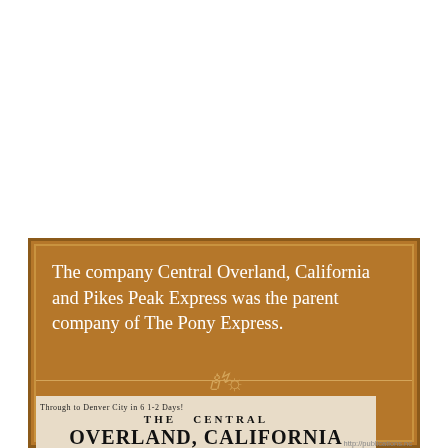The company Central Overland, California and Pikes Peak Express was the parent company of The Pony Express.
[Figure (photo): Partial view of an old newspaper or advertisement header reading 'Through to Denver City in 6 1-2 Days! THE CENTRAL OVERLAND, CALIFORNIA' with decorative serif typography on aged paper background.]
http://publications.nc